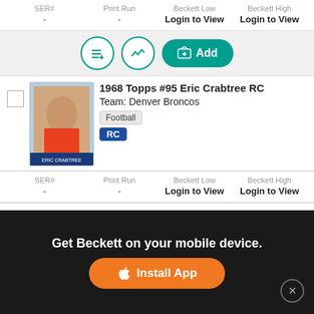| SER# | Print Run | Beckett Low | Beckett High |
| --- | --- | --- | --- |
| - | - | Login to View | Login to View |
Add (action buttons row 1)
1968 Topps #95 Eric Crabtree RC
Team: Denver Broncos
Football | RC
| SER# | Print Run | Beckett Low | Beckett High |
| --- | --- | --- | --- |
| - | - | Login to View | Login to View |
Add (action buttons row 2)
1968 Topps #108 Steve Stonebreaker RC
Team: New Orleans Saints
Football | RC
We use cookies to help personalize content, tailor and measure ads, and provide a safer experience. By navigating the site, you agree to the use of cookies to collect information in and out of Beckett.
Get Beckett on your mobile device.
Install App